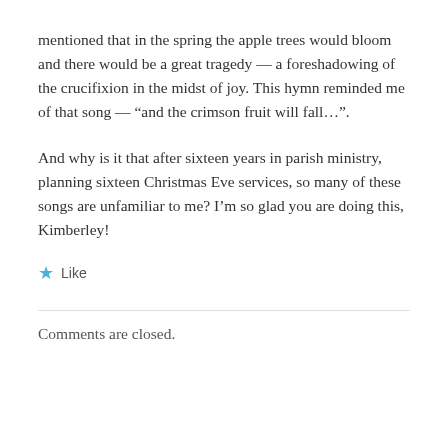mentioned that in the spring the apple trees would bloom and there would be a great tragedy — a foreshadowing of the crucifixion in the midst of joy. This hymn reminded me of that song — “and the crimson fruit will fall…”.
And why is it that after sixteen years in parish ministry, planning sixteen Christmas Eve services, so many of these songs are unfamiliar to me? I’m so glad you are doing this, Kimberley!
★ Like
Comments are closed.